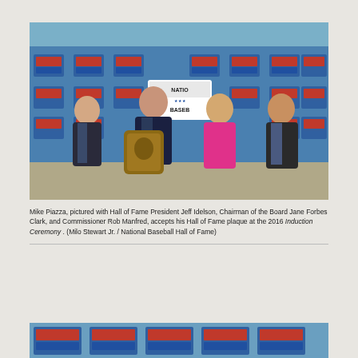[Figure (photo): Mike Piazza holding his Hall of Fame plaque, surrounded by Hall of Fame President Jeff Idelson, Chairman of the Board Jane Forbes Clark (in pink dress), and Commissioner Rob Manfred, against a blue National Baseball Hall of Fame backdrop.]
Mike Piazza, pictured with Hall of Fame President Jeff Idelson, Chairman of the Board Jane Forbes Clark, and Commissioner Rob Manfred, accepts his Hall of Fame plaque at the 2016 Induction Ceremony . (Milo Stewart Jr. / National Baseball Hall of Fame)
[Figure (photo): Partial view of another photo showing National Baseball Hall of Fame banners/backdrop, cropped at bottom of page.]